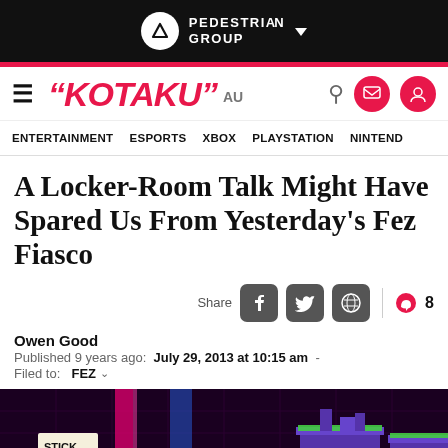[Figure (logo): Pedestrian Group logo in black top bar]
KOTAKU AU - navigation header with search, mail, and user icons
ENTERTAINMENT   ESPORTS   XBOX   PLAYSTATION   NINTENDО
A Locker-Room Talk Might Have Spared Us From Yesterday's Fez Fiasco
Share  [Facebook] [Twitter] [Reddit]  8
Owen Good
Published 9 years ago:  July 29, 2013 at 10:15 am  -
Filed to:  FEZ
[Figure (screenshot): Fez video game screenshot showing purple platforms with stick jockey label in bottom-left corner]